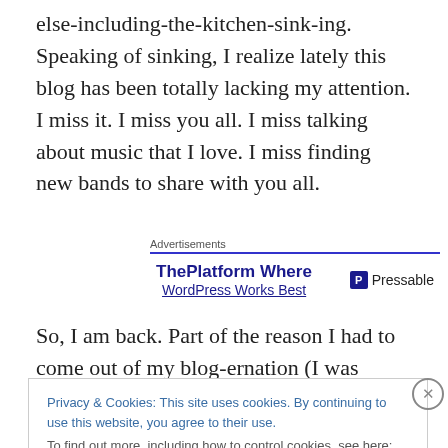else-including-the-kitchen-sink-ing. Speaking of sinking, I realize lately this blog has been totally lacking my attention. I miss it. I miss you all. I miss talking about music that I love. I miss finding new bands to share with you all.
[Figure (screenshot): Advertisements banner with ThePlatform Where WordPress Works Best text and Pressable logo]
So, I am back. Part of the reason I had to come out of my blog-ernation (I was going to say hibernation, but if you
Privacy & Cookies: This site uses cookies. By continuing to use this website, you agree to their use.
To find out more, including how to control cookies, see here: Cookie Policy
Close and accept